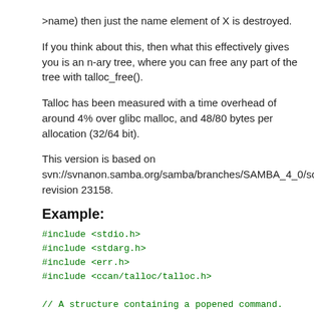>name) then just the name element of X is destroyed.
If you think about this, then what this effectively gives you is an n-ary tree, where you can free any part of the tree with talloc_free().
Talloc has been measured with a time overhead of around 4% over glibc malloc, and 48/80 bytes per allocation (32/64 bit).
This version is based on svn://svnanon.samba.org/samba/branches/SAMBA_4_0/so revision 23158.
Example:
#include <stdio.h>
#include <stdarg.h>
#include <err.h>
#include <ccan/talloc/talloc.h>

// A structure containing a popened command.
struct command
{
        FILE *f;
        const char *command;
};